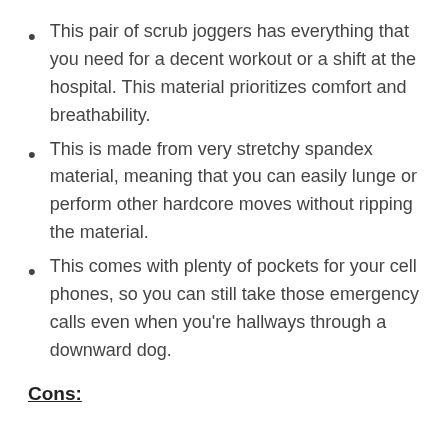This pair of scrub joggers has everything that you need for a decent workout or a shift at the hospital. This material prioritizes comfort and breathability.
This is made from very stretchy spandex material, meaning that you can easily lunge or perform other hardcore moves without ripping the material.
This comes with plenty of pockets for your cell phones, so you can still take those emergency calls even when you're hallways through a downward dog.
Cons: